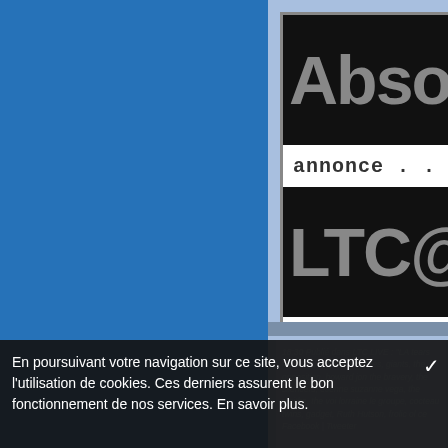[Figure (screenshot): Advertisement banner showing 'Absolu' in large grey text on black, 'annonce . . .' in monospace on white, and 'LTC@L' in large grey text on black]
18:30 Publié dans LTC LIVE : "LA tears for fears, the mary onettes, giants, the opposition, howard jon the bravery, the silencers, etienne suzanne vega, the smiths, the voi lorraine le groupe, cocteau twins, gadget, Ruth Hutson, frolic ol ce Facebook | Tweeter
En poursuivant votre navigation sur ce site, vous acceptez l'utilisation de cookies. Ces derniers assurent le bon fonctionnement de nos services. En savoir plus.